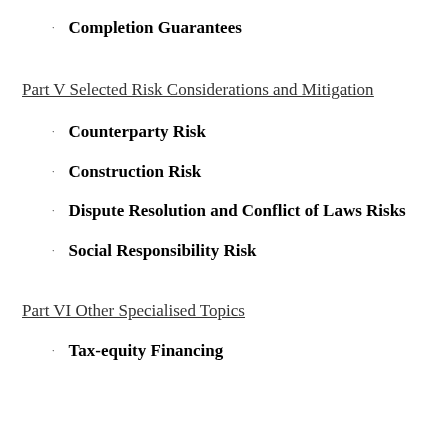Completion Guarantees
Part V Selected Risk Considerations and Mitigation
Counterparty Risk
Construction Risk
Dispute Resolution and Conflict of Laws Risks
Social Responsibility Risk
Part VI Other Specialised Topics
Tax-equity Financing